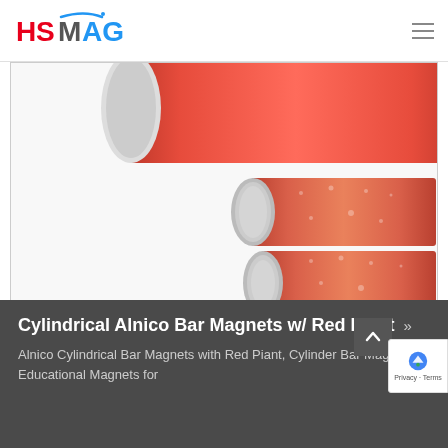HSMAG
[Figure (photo): Three cylindrical Alnico bar magnets with red paint coating. Top: a large single red cylinder (partially visible). Middle: two smaller red cylinders side by side showing silver metallic ends. Bottom: two red cylinders held together by silver metal end caps forming a horseshoe-like assembly. Background is white, inside a thin-bordered image frame.]
Cylindrical Alnico Bar Magnets w/ Red Piant >>
Alnico Cylindrical Bar Magnets with Red Piant, Cylinder Bar Magnets, Educational Magnets for